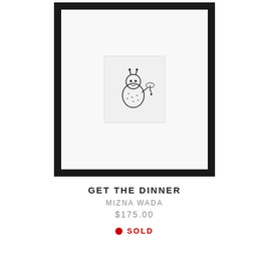[Figure (photo): A framed artwork with black frame and white mat, containing a small black and white illustration of a cartoon-like character (appears to be a creature holding something, possibly a dinner-related scene). The artwork is titled 'Get The Dinner' by Mizna Wada.]
GET THE DINNER
MIZNA WADA
$175.00
SOLD